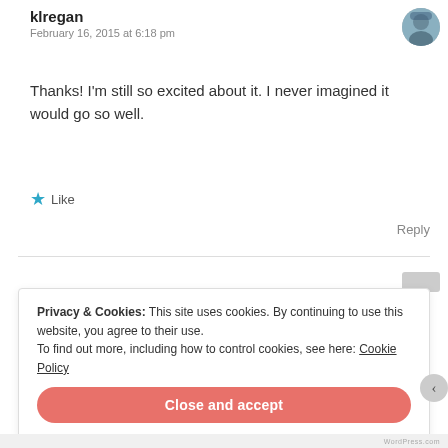klregan
February 16, 2015 at 6:18 pm
Thanks! I'm still so excited about it. I never imagined it would go so well.
★ Like
Reply
Privacy & Cookies: This site uses cookies. By continuing to use this website, you agree to their use.
To find out more, including how to control cookies, see here: Cookie Policy
Close and accept